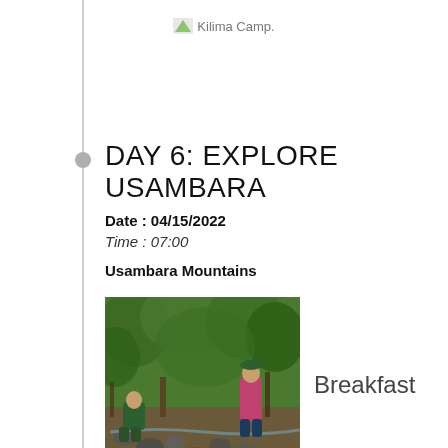Kilima Camp.
DAY 6: EXPLORE USAMBARA
Date : 04/15/2022
Time : 07:00
Usambara Mountains
[Figure (photo): Two people by a rocky stream in a lush green forest/mountain trail setting]
Breakfast
Hope you are well rested because today is going to be a full day of activities! Enjoy a